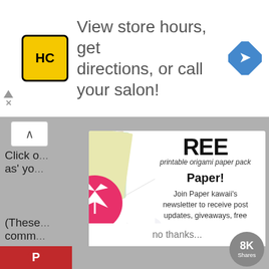[Figure (screenshot): Advertisement banner with HC logo, text 'View store hours, get directions, or call your salon!' and a blue navigation icon]
Click o... ve link as' yo...
(These comm...
[Figure (infographic): Newsletter signup popup overlay for Paper Kawaii with origami paper image, FREE printable paper pack offer, email signup form with SUBSCRIBE button and 'no thanks...' link]
no thanks...
[Figure (logo): Pinterest share button with 8K Shares counter]